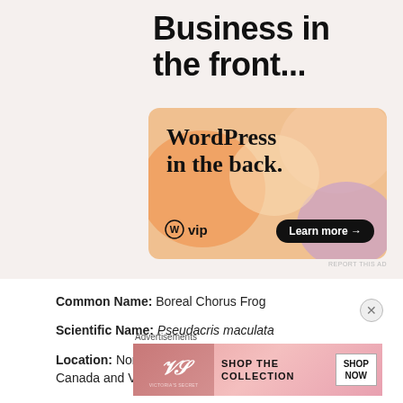Business in the front...
[Figure (screenshot): WordPress VIP advertisement banner with gradient orange/pink/purple background, bold text 'WordPress in the back.', WordPress VIP logo, and 'Learn more →' button]
REPORT THIS AD
Common Name: Boreal Chorus Frog
Scientific Name: Pseudacris maculata
Location: Northeastern border of the state with Canada and Vermont
Advertisements
[Figure (screenshot): Victoria's Secret advertisement with woman's photo on left, pink gradient background, 'SHOP THE COLLECTION' text, and white 'SHOP NOW' button box]